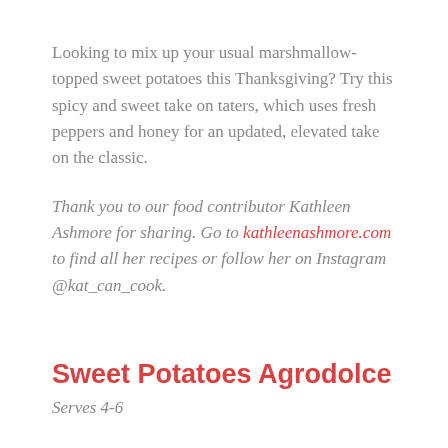Looking to mix up your usual marshmallow-topped sweet potatoes this Thanksgiving? Try this spicy and sweet take on taters, which uses fresh peppers and honey for an updated, elevated take on the classic.
Thank you to our food contributor Kathleen Ashmore for sharing. Go to kathleenashmore.com to find all her recipes or follow her on Instagram @kat_can_cook.
Sweet Potatoes Agrodolce
Serves 4-6